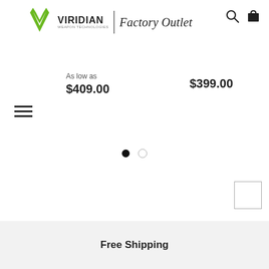[Figure (logo): Viridian Weapon Technologies Factory Outlet logo with green icon and text]
As low as
$409.00
$399.00
[Figure (other): Pagination dots: one filled black circle and one empty circle]
[Figure (other): Back to top button square outline]
Free Shipping